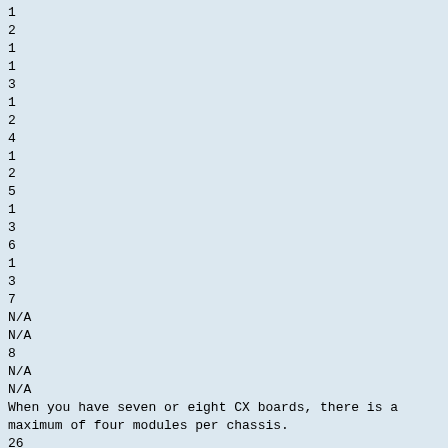1
2
1
1
3
1
2
4
1
2
5
1
3
6
1
3
7
N/A
N/A
8
N/A
N/A
When you have seven or eight CX boards, there is a maximum of four modules per chassis.
26
NMS Communications
CX 2000 Installation and Developer's Manual
Connecting a power supply
Rack mount considerations
Consider the following items when installing a power supply in a rack:
•
Do not block the power supply vents, or otherwise